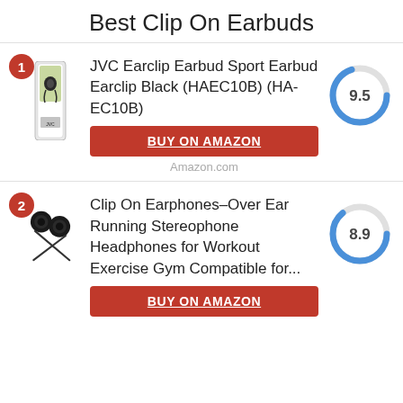Best Clip On Earbuds
1 JVC Earclip Earbud Sport Earbud Earclip Black (HAEC10B) (HA-EC10B)
[Figure (donut-chart): Score 9.5]
BUY ON AMAZON
Amazon.com
2 Clip On Earphones Over Ear Running Stereophone Headphones for Workout Exercise Gym Compatible for...
[Figure (donut-chart): Score 8.9]
BUY ON AMAZON